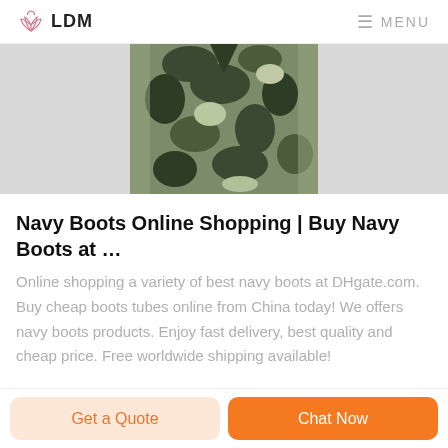LDM  MENU
[Figure (photo): Camo pattern clothing item (military camouflage jacket/shirt), cropped view showing upper torso area]
Navy Boots Online Shopping | Buy Navy Boots at …
Online shopping a variety of best navy boots at DHgate.com. Buy cheap boots tubes online from China today! We offers navy boots products. Enjoy fast delivery, best quality and cheap price. Free worldwide shipping available!
Get a Quote
Chat Now